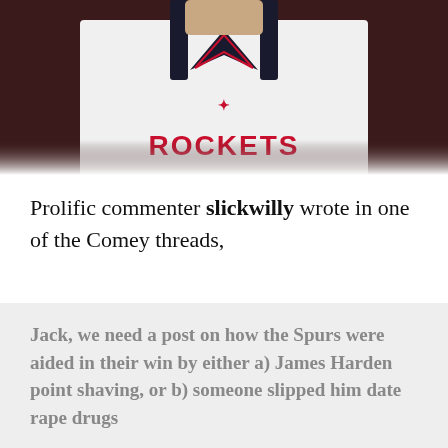[Figure (photo): A basketball player wearing a Houston Rockets white jersey, partially cropped showing the chest and chin area.]
Prolific commenter slickwilly wrote in one of the Comey threads,
Jack, we need a post on how the Spurs were aided in their win by either a) James Harden point shaving, or b) someone slipped him date rape drugs